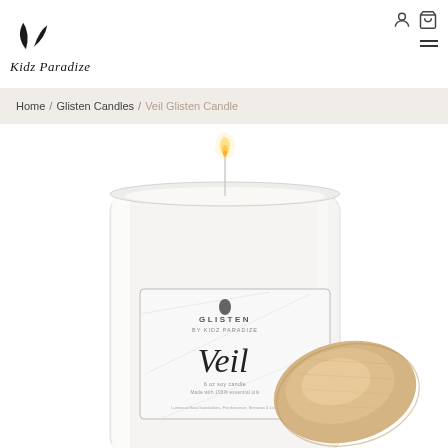[Figure (logo): Kidz Paradize logo with leaf icon and cursive brand name]
Home / Glisten Candles / Veil Glisten Candle
[Figure (photo): White frosted glass candle labeled 'Veil' by Glisten by Kidz Paradize, lit with a small flame, with a round wooden lid leaning against it]